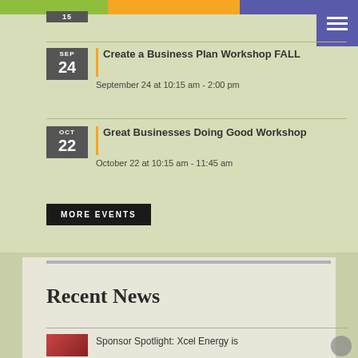Create a Business Plan Workshop FALL — September 24 at 10:15 am - 2:00 pm
Great Businesses Doing Good Workshop — October 22 at 10:15 am - 11:45 am
MORE EVENTS
Recent News
Sponsor Spotlight: Xcel Energy is